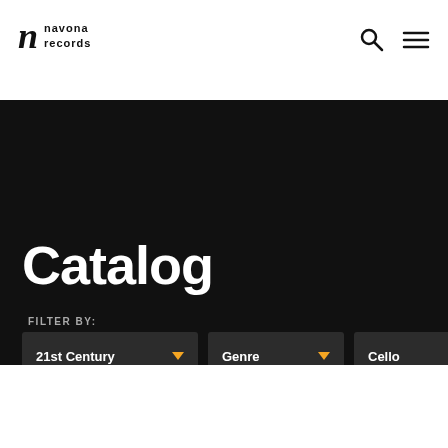[Figure (logo): Navona Records logo with stylized italic n and text 'navona records']
Catalog
FILTER BY:
21st Century ▼
Genre ▼
Cello ▼
SORT BY:
Release Date ▼
1 - 20 of 41 albums